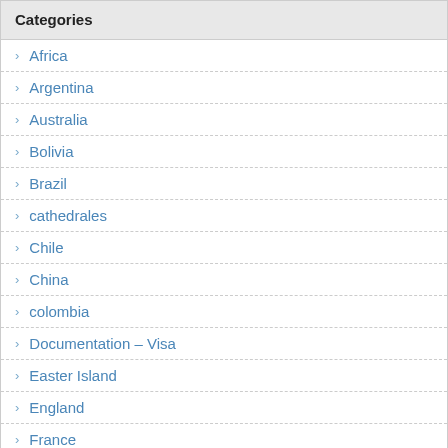Categories
Africa
Argentina
Australia
Bolivia
Brazil
cathedrales
Chile
China
colombia
Documentation – Visa
Easter Island
England
France
Germany